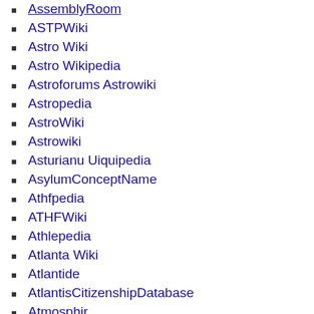AssemblyRoom
ASTPWiki
Astro Wiki
Astro Wikipedia
Astroforums Astrowiki
Astropedia
AstroWiki
Astrowiki
Asturianu Uiquipedia
AsylumConceptName
Athfpedia
ATHFWiki
Athlepedia
Atlanta Wiki
Atlantide
AtlantisCitizenshipDatabase
Atmosphir
AtmWiki